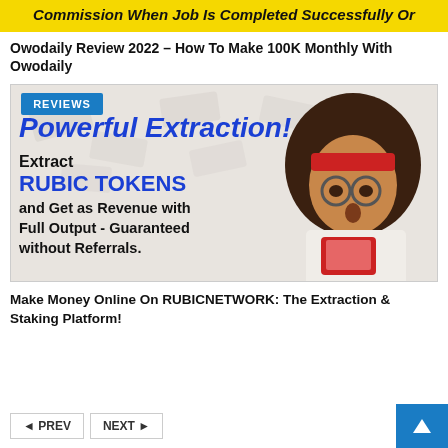[Figure (other): Yellow banner with bold italic text: 'Commission When Job Is Completed Successfully Or']
Owodaily Review 2022 – How To Make 100K Monthly With Owodaily
[Figure (illustration): Promotional image for RUBICNETWORK showing bold text 'Powerful Extraction!' with 'REVIEWS' badge in blue, text 'Extract RUBIC TOKENS and Get as Revenue with Full Output - Guaranteed without Referrals.' alongside a photo of a woman with afro hair and round glasses looking at a phone]
Make Money Online On RUBICNETWORK: The Extraction & Staking Platform!
◄ PREV
NEXT ►